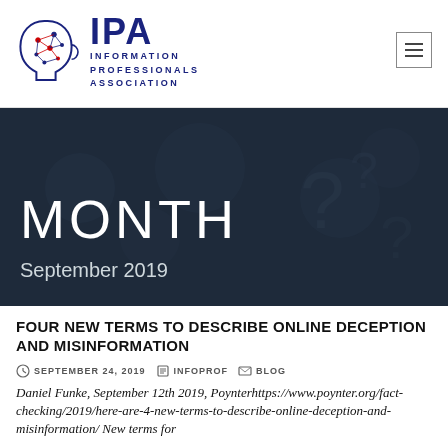[Figure (logo): IPA Information Professionals Association logo with brain/head icon and hamburger menu button]
MONTH
September 2019
FOUR NEW TERMS TO DESCRIBE ONLINE DECEPTION AND MISINFORMATION
SEPTEMBER 24, 2019   INFOPROF   BLOG
Daniel Funke, September 12th 2019, Poynterhttps://www.poynter.org/fact-checking/2019/here-are-4-new-terms-to-describe-online-deception-and-misinformation/ New terms for